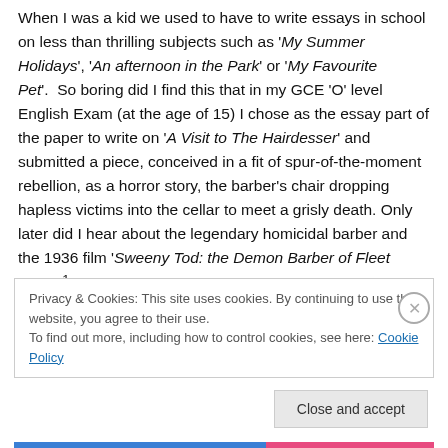When I was a kid we used to have to write essays in school on less than thrilling subjects such as 'My Summer Holidays', 'An afternoon in the Park' or 'My Favourite Pet'.  So boring did I find this that in my GCE 'O' level English Exam (at the age of 15) I chose as the essay part of the paper to write on 'A Visit to The Hairdesser' and submitted a piece, conceived in a fit of spur-of-the-moment rebellion, as a horror story, the barber's chair dropping hapless victims into the cellar to meet a grisly death. Only later did I hear about the legendary homicidal barber and the 1936 film 'Sweeny Tod: the Demon Barber of Fleet Street'¹.
Privacy & Cookies: This site uses cookies. By continuing to use this website, you agree to their use.
To find out more, including how to control cookies, see here: Cookie Policy